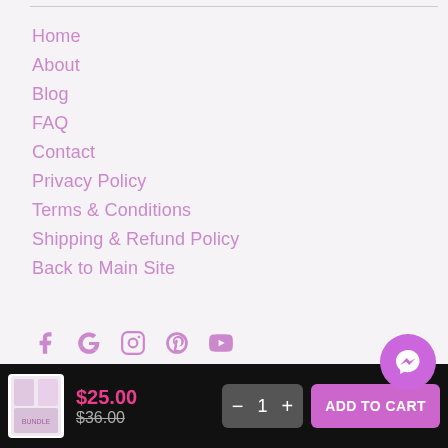Home
About
Blog
FAQ
Contact
Privacy Policy
Terms & Conditions
Shipping & Refund Policy
Back to Main Site
[Figure (infographic): Social media icons: Facebook, Google, Instagram, Pinterest, YouTube — in pink/purple color]
Shop
$25.00 $36.00 — Add to Cart button, quantity selector showing 1